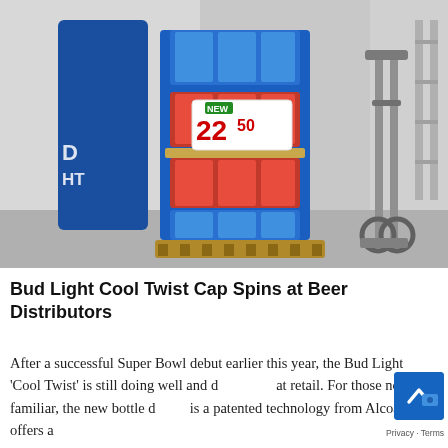[Figure (photo): A Bud Light Cool Twist Cap product display stand in a warehouse/store setting, showing stacked cases of Bud Light beer with a price sign showing 22.50. A hand truck/dolly is visible in the background on the right.]
Bud Light Cool Twist Cap Spins at Beer Distributors
After a successful Super Bowl debut earlier this year, the Bud Light 'Cool Twist' is still doing well and doing well at retail. For those not familiar, the new bottle design is a patented technology from Alcoa that offers a